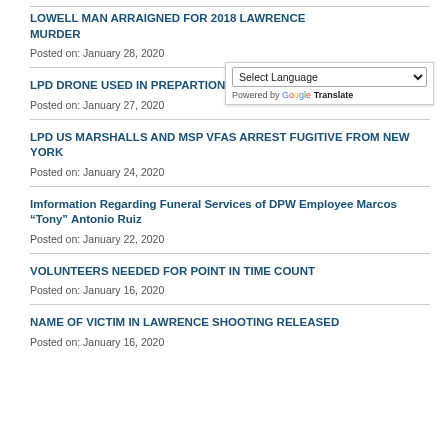LOWELL MAN ARRAIGNED FOR 2018 LAWRENCE MURDER
Posted on: January 28, 2020
LPD DRONE USED IN PREPARTION OF HOMELESS COUNT
Posted on: January 27, 2020
LPD US MARSHALLS AND MSP VFAS ARREST FUGITIVE FROM NEW YORK
Posted on: January 24, 2020
Imformation Regarding Funeral Services of DPW Employee Marcos "Tony" Antonio Ruiz
Posted on: January 22, 2020
VOLUNTEERS NEEDED FOR POINT IN TIME COUNT
Posted on: January 16, 2020
NAME OF VICTIM IN LAWRENCE SHOOTING RELEASED
Posted on: January 16, 2020